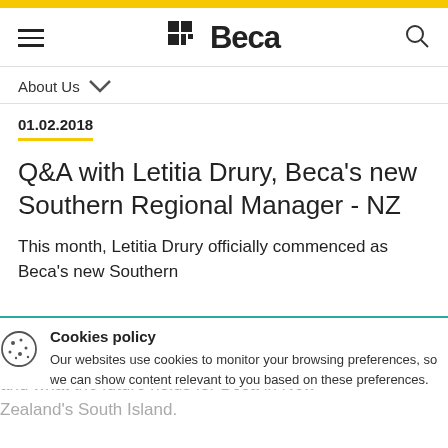[Figure (logo): Beca company logo with grid icon and bold sans-serif text]
About Us
01.02.2018
Q&A with Letitia Drury, Beca's new Southern Regional Manager - NZ
This month, Letitia Drury officially commenced as Beca's new Southern Regional Manager - New Zealand. We sat down with her to discuss her role, and what the future holds for Beca in New Zealand's South Island.
What exc
Cookies policy
Our websites use cookies to monitor your browsing preferences, so we can show content relevant to you based on these preferences.
Accept all cookies